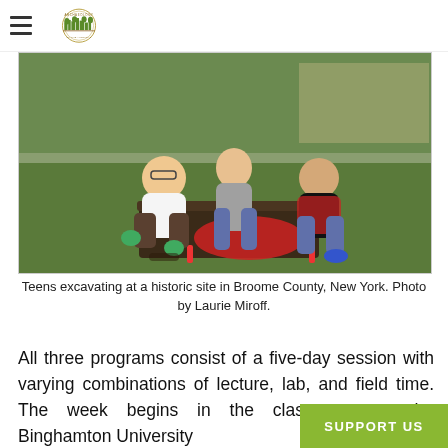Archaeology [logo]
[Figure (photo): Three teens kneeling on grass excavating at a historic archaeological site in Broome County, New York. They are digging with tools, wearing gloves, with a red cloth laid on the ground beside the excavation pit.]
Teens excavating at a historic site in Broome County, New York. Photo by Laurie Miroff.
All three programs consist of a five-day session with varying combinations of lecture, lab, and field time. The week begins in the classroom on the Binghamton University